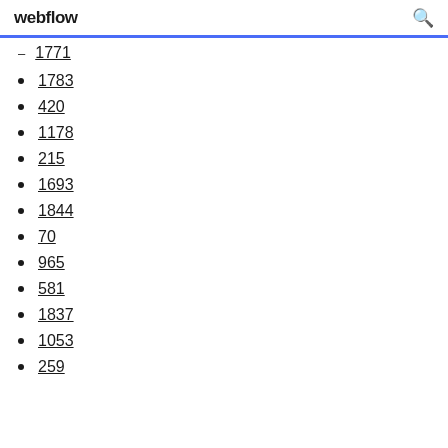webflow
1771
1783
420
1178
215
1693
1844
70
965
581
1837
1053
259